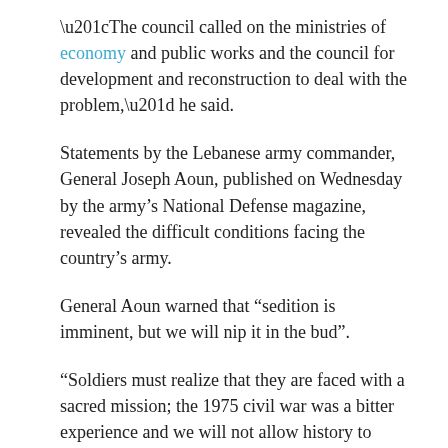“The council called on the ministries of economy and public works and the council for development and reconstruction to deal with the problem,” he said.
Statements by the Lebanese army commander, General Joseph Aoun, published on Wednesday by the army’s National Defense magazine, revealed the difficult conditions facing the country’s army.
General Aoun warned that “sedition is imminent, but we will nip it in the bud”.
“Soldiers must realize that they are faced with a sacred mission; the 1975 civil war was a bitter experience and we will not allow history to repeat itself. We will never again let the militias take over and we will no longer live under the mercy of armed gangs and terrorism, â€  he said.
Addressing his soldiers directly in the article, Aoun said: “In